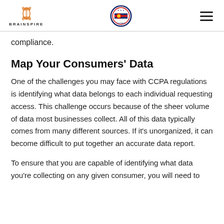BRAINSPIRE
compliance.
Map Your Consumers' Data
One of the challenges you may face with CCPA regulations is identifying what data belongs to each individual requesting access. This challenge occurs because of the sheer volume of data most businesses collect. All of this data typically comes from many different sources. If it's unorganized, it can become difficult to put together an accurate data report.
To ensure that you are capable of identifying what data you're collecting on any given consumer, you will need to